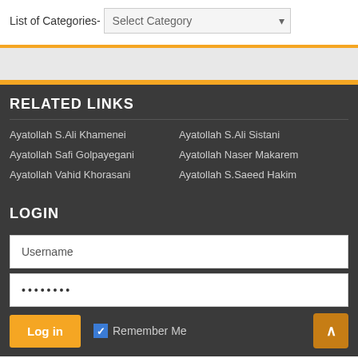[Figure (screenshot): List of Categories dropdown selector with 'Select Category' placeholder and chevron icon]
RELATED LINKS
Ayatollah S.Ali Khamenei
Ayatollah S.Ali Sistani
Ayatollah Safi Golpayegani
Ayatollah Naser Makarem
Ayatollah Vahid Khorasani
Ayatollah S.Saeed Hakim
LOGIN
Username
••••••••
Log in
Remember Me